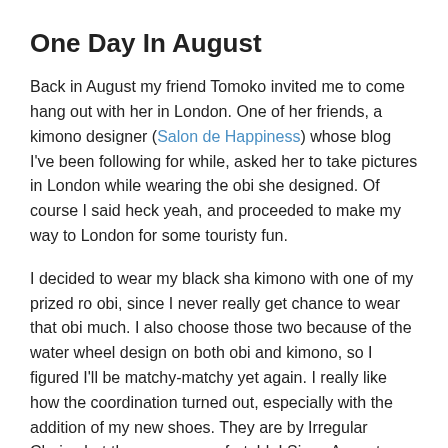One Day In August
Back in August my friend Tomoko invited me to come hang out with her in London. One of her friends, a kimono designer (Salon de Happiness) whose blog I’ve been following for while, asked her to take pictures in London while wearing the obi she designed. Of course I said heck yeah, and proceeded to make my way to London for some touristy fun.
I decided to wear my black sha kimono with one of my prized ro obi, since I never really get chance to wear that obi much. I also choose those two because of the water wheel design on both obi and kimono, so I figured I’ll be matchy-matchy yet again. I really like how the coordination turned out, especially with the addition of my new shoes. They are by Irregular Choice but they are so comfortable! Since August these shoes had survived many whole-day trips to London and Cambridge without making my feel hurt like crazy! And they go with so many kimono too!